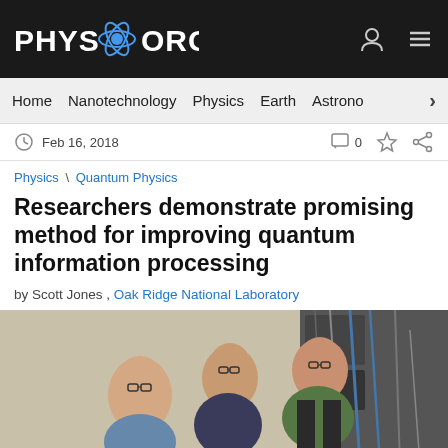PHYS.ORG
Home  Nanotechnology  Physics  Earth  Astron...
Feb 16, 2018  □ 0 ☆ Share
Physics \ Quantum Physics
Researchers demonstrate promising method for improving quantum information processing
by Scott Jones , Oak Ridge National Laboratory
[Figure (photo): Three researchers posing in front of laboratory equipment with cables and electronics racks]